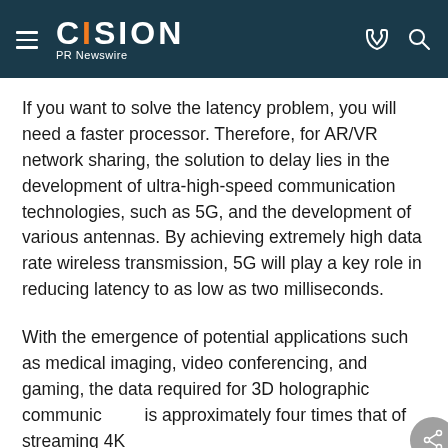CISION PR Newswire
If you want to solve the latency problem, you will need a faster processor. Therefore, for AR/VR network sharing, the solution to delay lies in the development of ultra-high-speed communication technologies, such as 5G, and the development of various antennas. By achieving extremely high data rate wireless transmission, 5G will play a key role in reducing latency to as low as two milliseconds.
With the emergence of potential applications such as medical imaging, video conferencing, and gaming, the data required for 3D holographic communic… is approximately four times that of streaming 4K